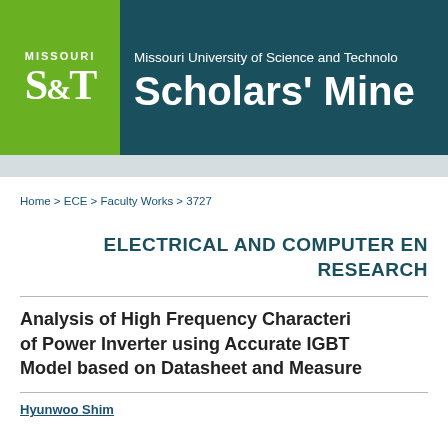[Figure (logo): Missouri S&T logo with green background and Scholars' Mine header on dark teal background. Shows 'MISSOURI S&T' logo on the left and 'Missouri University of Science and Technology Scholars' Mine' text on the right.]
Home > ECE > Faculty Works > 3727
ELECTRICAL AND COMPUTER ENGINEERING RESEARCH
Analysis of High Frequency Characteristics of Power Inverter using Accurate IGBT Model based on Datasheet and Measurements
Hyunwoo Shim